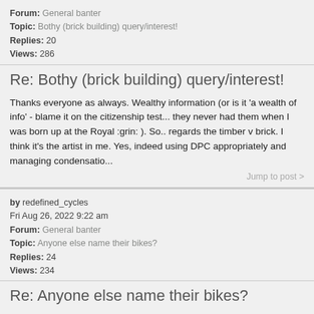Forum: General banter
Topic: Bothy (brick building) query/interest!
Replies: 20
Views: 286
Re: Bothy (brick building) query/interest!
Thanks everyone as always. Wealthy information (or is it 'a wealth of info' - blame it on the citizenship test... they never had them when I was born up at the Royal :grin: ). So.. regards the timber v brick. I think it's the artist in me. Yes, indeed using DPC appropriately and managing condensatio...
Jump to post >
by redefined_cycles
Fri Aug 26, 2022 9:22 am
Forum: General banter
Topic: Anyone else name their bikes?
Replies: 24
Views: 234
Re: Anyone else name their bikes?
Yes. Sorry. Most definitely guilty. I think I ever remember their names over the years. Lemme see... SantaJohn - the SC Superlight in orange and amazing 130mm Mag Menja forks (the shorter ones are/were rubbish). The Cannondale f800 but I forgot it's name (sorry to the bike for that). Erm... forgotte...
Jump to post >